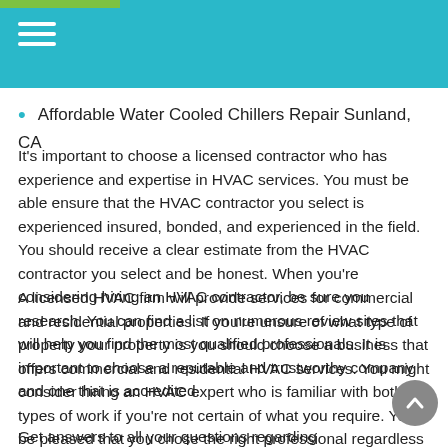Affordable Water Cooled Chillers Repair Sunland, CA
It's important to choose a licensed contractor who has experience and expertise in HVAC services. You must be able ensure that the HVAC contractor you select is experienced insured, bonded, and experienced in the field. You should receive a clear estimate from the HVAC contractor you select and be honest. When you're considering hiring an HVAC contractor, be sure you research. You can find a list on numerous review sites that will help you find the most qualified professionals. It is important to choose a reputable and trustworthy company and one that is accredited.
A licensed HVAC firm will provide services for commercial and residential properties. If you're unsure of what type of property your property is you should choose a business that offers commercial and residential HVAC services. You might consider hiring an HVAC expert who is familiar with both types of work if you're not certain of what you require. You'll be pleased that you chose the right professional regardless of whether you require residential or commercial HVAC services.
Get answers to all your questions regarding Affordable Water Cooled Chillers Repair Sunland, CA, Affordable Water Cooled Chillers Repair Sunland, CA , and also Affordable Water Cooled